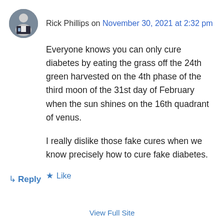Rick Phillips on November 30, 2021 at 2:32 pm
Everyone knows you can only cure diabetes by eating the grass off the 24th green harvested on the 4th phase of the third moon of the 31st day of February when the sun shines on the 16th quadrant of venus.
I really dislike those fake cures when we know precisely how to cure fake diabetes.
★ Like
↳ Reply
View Full Site